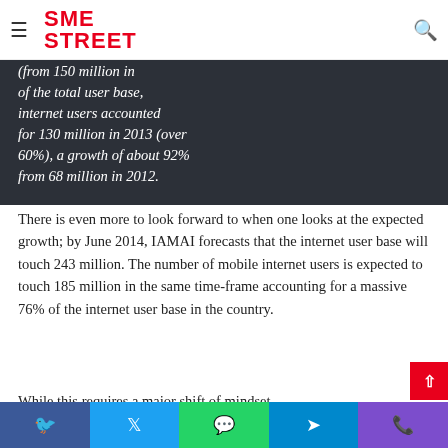SME STREET
(from 150 million in of the total user base, internet users accounted for 130 million in 2013 (over 60%), a growth of about 92% from 68 million in 2012.
There is even more to look forward to when one looks at the expected growth; by June 2014, IAMAI forecasts that the internet user base will touch 243 million. The number of mobile internet users is expected to touch 185 million in the same time-frame accounting for a massive 76% of the internet user base in the country.
While this requires a major shift of mindset,